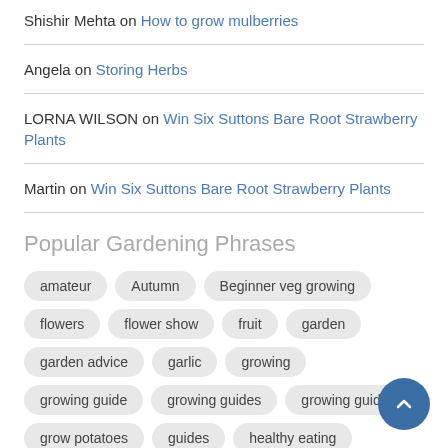Shishir Mehta on How to grow mulberries
Angela on Storing Herbs
LORNA WILSON on Win Six Suttons Bare Root Strawberry Plants
Martin on Win Six Suttons Bare Root Strawberry Plants
Popular Gardening Phrases
amateur
Autumn
Beginner veg growing
flowers
flower show
fruit
garden
garden advice
garlic
growing
growing guide
growing guides
growing guides
grow potatoes
guides
healthy eating
Home grown Food